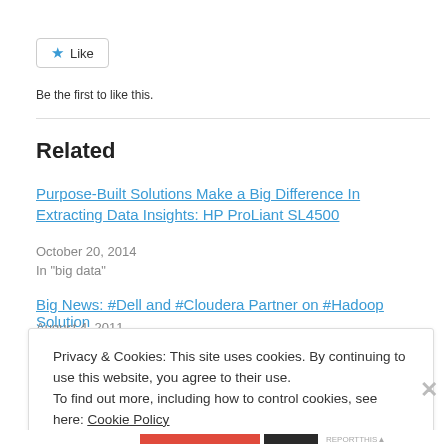[Figure (other): Like button with blue star icon and 'Like' text, styled as a rounded rectangle button]
Be the first to like this.
Related
Purpose-Built Solutions Make a Big Difference In Extracting Data Insights: HP ProLiant SL4500
October 20, 2014
In "big data"
Big News: #Dell and #Cloudera Partner on #Hadoop Solution
August 4, 2011
Privacy & Cookies: This site uses cookies. By continuing to use this website, you agree to their use.
To find out more, including how to control cookies, see here: Cookie Policy